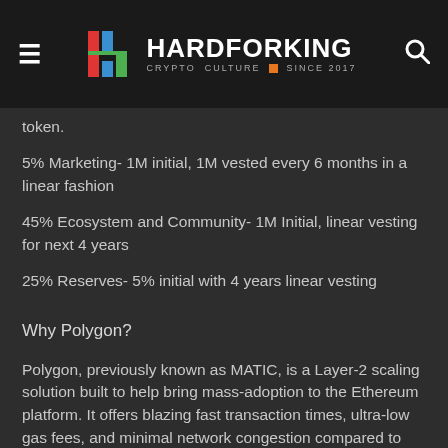HARDFORKING CRYPTO CULTURE SINCE 2017
token.
5% Marketing- 1M initial, 1M vested every 6 months in a linear fashion
45% Ecosystem and Community- 1M Initial, linear vesting for next 4 years
25% Reserves- 5% initial with 4 years linear vesting
Why Polygon?
Polygon, previously known as MATIC, is a Layer-2 scaling solution built to help bring mass-adoption to the Ethereum platform. It offers blazing fast transaction times, ultra-low gas fees, and minimal network congestion compared to Ethereum.